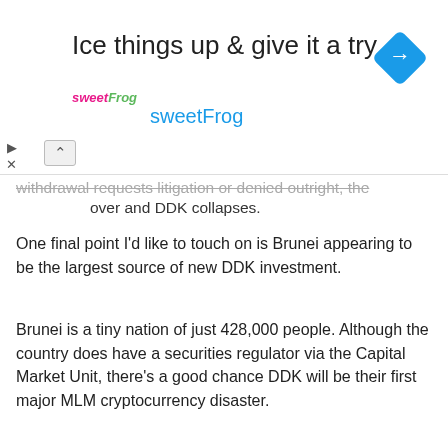[Figure (other): Advertisement banner for sweetFrog frozen yogurt. Headline: 'Ice things up & give it a try', subheading: 'sweetFrog', with logo and navigation icon.]
...withdrawal requests litigation or denied outright, the party is over and DDK collapses.
One final point I'd like to touch on is Brunei appearing to be the largest source of new DDK investment.
Brunei is a tiny nation of just 428,000 people. Although the country does have a securities regulator via the Capital Market Unit, there's a good chance DDK will be their first major MLM cryptocurrency disaster.
My worry is that by the time DDK appears on the Capital Market Unit's radar, the damage will have already been done – both economically and socially.
What with Brunei having such a small population and the DDK website currently the 271st most visited website nationally, things aren't looking good.